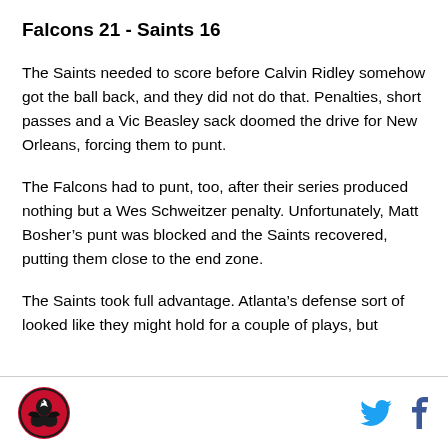Falcons 21 - Saints 16
The Saints needed to score before Calvin Ridley somehow got the ball back, and they did not do that. Penalties, short passes and a Vic Beasley sack doomed the drive for New Orleans, forcing them to punt.
The Falcons had to punt, too, after their series produced nothing but a Wes Schweitzer penalty. Unfortunately, Matt Bosher’s punt was blocked and the Saints recovered, putting them close to the end zone.
The Saints took full advantage. Atlanta’s defense sort of looked like they might hold for a couple of plays, but
[logo] [twitter] [facebook]